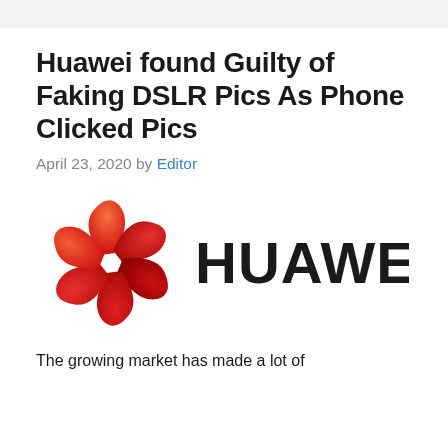Huawei found Guilty of Faking DSLR Pics As Phone Clicked Pics
April 23, 2020 by Editor
[Figure (logo): Huawei logo — red flower/leaf icon on left, bold black HUAWEI text on right]
The growing market has made a lot of